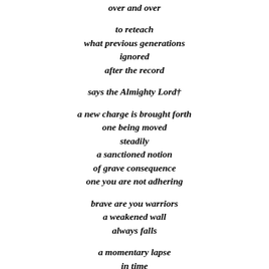over and over
to reteach
what previous generations
ignored
after the record
says the Almighty Lord†
a new charge is brought forth
one being moved
steadily
a sanctioned notion
of grave consequence
one you are not adhering
brave are you warriors
a weakened wall
always falls
a momentary lapse
in time